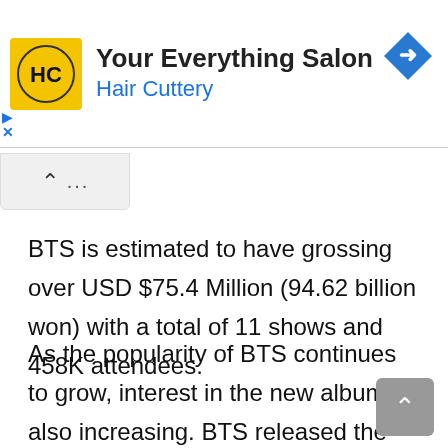[Figure (screenshot): Hair Cuttery advertisement banner with yellow HC logo, text 'Your Everything Salon' and 'Hair Cuttery' in blue, and a blue diamond navigation icon on the right.]
BTS is estimated to have grossing over USD $75.4 Million (94.62 billion won) with a total of 11 shows and 458K attendees.
As the popularity of BTS continues to grow, interest in the new album is also increasing. BTS released the music video teaser video for the title song ‘Yet To Come’ on the 10th ahead of the release of their new